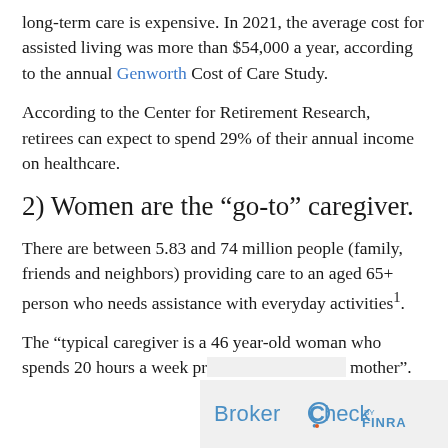long-term care is expensive. In 2021, the average cost for assisted living was more than $54,000 a year, according to the annual Genworth Cost of Care Study.
According to the Center for Retirement Research, retirees can expect to spend 29% of their annual income on healthcare.
2) Women are the “go-to” caregiver.
There are between 5.83 and 74 million people (family, friends and neighbors) providing care to an aged 65+ person who needs assistance with everyday activities¹.
The “typical caregiver is a 46 year-old woman who spends 20 hours a week pr… mother”.
[Figure (logo): BrokerCheck by FINRA logo on a light grey background]